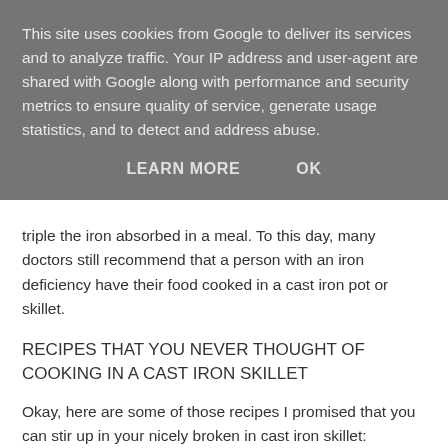This site uses cookies from Google to deliver its services and to analyze traffic. Your IP address and user-agent are shared with Google along with performance and security metrics to ensure quality of service, generate usage statistics, and to detect and address abuse.
LEARN MORE   OK
triple the iron absorbed in a meal. To this day, many doctors still recommend that a person with an iron deficiency have their food cooked in a cast iron pot or skillet.
RECIPES THAT YOU NEVER THOUGHT OF COOKING IN A CAST IRON SKILLET
Okay, here are some of those recipes I promised that you can stir up in your nicely broken in cast iron skillet:
CAST IRON GERMAN POTATO SALAD
4 slices bacon
1 medium red onion, diced
1 pound red potatoes, precooked and cut in half